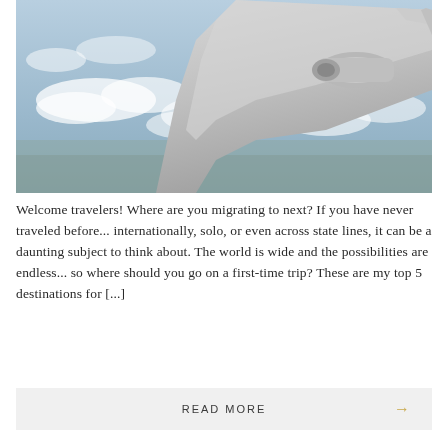[Figure (photo): Aerial view from airplane window showing airplane wing against sky with clouds and land below]
Welcome travelers! Where are you migrating to next? If you have never traveled before... internationally, solo, or even across state lines, it can be a daunting subject to think about. The world is wide and the possibilities are endless... so where should you go on a first-time trip? These are my top 5 destinations for [...]
READ MORE →